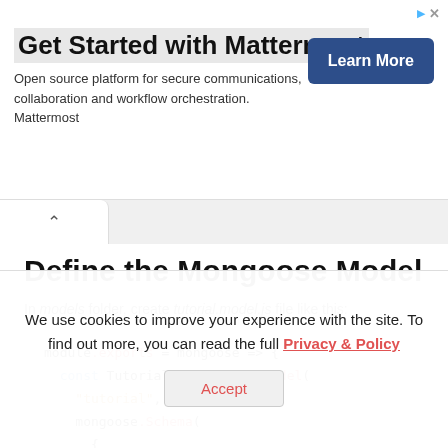[Figure (screenshot): Advertisement banner for Mattermost with title 'Get Started with Mattermost', description text, and a 'Learn More' button]
Define the Mongoose Model
In models folder, create tutorial.model.js file like this:
[Figure (screenshot): Code block showing: module.exports = mongoose => { const Tutorial = mongoose.model( "tutorial", mongoose.Schema( {]
We use cookies to improve your experience with the site. To find out more, you can read the full Privacy & Policy
Accept